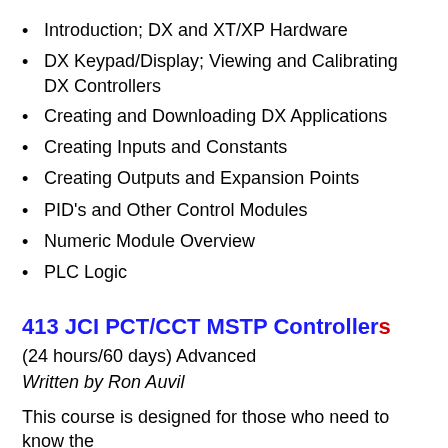Introduction; DX and XT/XP Hardware
DX Keypad/Display; Viewing and Calibrating DX Controllers
Creating and Downloading DX Applications
Creating Inputs and Constants
Creating Outputs and Expansion Points
PID's and Other Control Modules
Numeric Module Overview
PLC Logic
413 JCI PCT/CCT MSTP Controllers
(24 hours/60 days) Advanced
Written by Ron Auvil
This course is designed for those who need to know the